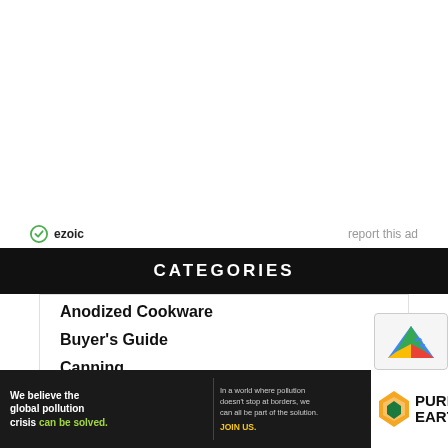[Figure (other): Empty white advertisement space at top of page]
ezoic   report this ad
CATEGORIES
Anodized Cookware
Buyer's Guide
Canning
[Figure (other): Pure Earth ad banner: We believe the global pollution crisis can be solved. In a world where pollution doesn't stop at borders, we can all be part of the solution. JOIN US.]